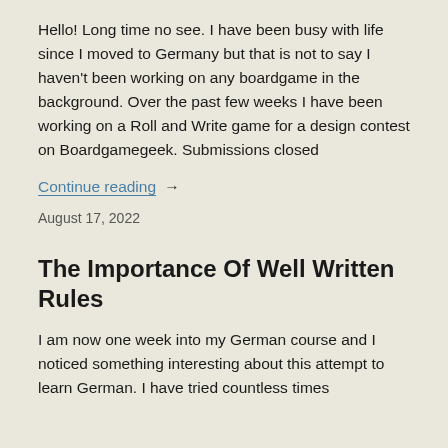Hello! Long time no see. I have been busy with life since I moved to Germany but that is not to say I haven't been working on any boardgame in the background. Over the past few weeks I have been working on a Roll and Write game for a design contest on Boardgamegeek. Submissions closed
Continue reading →
August 17, 2022
The Importance Of Well Written Rules
I am now one week into my German course and I noticed something interesting about this attempt to learn German. I have tried countless times